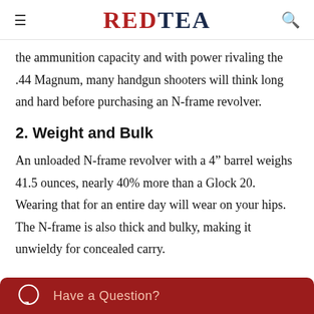RED TEA
the ammunition capacity and with power rivaling the .44 Magnum, many handgun shooters will think long and hard before purchasing an N-frame revolver.
2. Weight and Bulk
An unloaded N-frame revolver with a 4" barrel weighs 41.5 ounces, nearly 40% more than a Glock 20. Wearing that for an entire day will wear on your hips. The N-frame is also thick and bulky, making it unwieldy for concealed carry.
Have a Question?